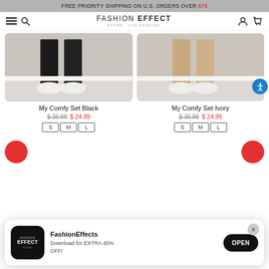FREE PRIORITY SHIPPING ON U.S. ORDERS OVER $75
[Figure (screenshot): Fashion Effect Store Los Angeles website navigation bar with hamburger menu, search icon, logo, user icon, and cart icon]
[Figure (photo): Product photo of My Comfy Set Black showing lower legs in black jogger pants with white sneakers on light wood floor]
[Figure (photo): Product photo of My Comfy Set Ivory showing lower legs in beige/ivory pants with white sneakers on light wood floor]
My Comfy Set Black
$36.99   $24.99   S M L
My Comfy Set Ivory
$36.99   $24.99   S M L
[Figure (screenshot): App install banner: FashionEffects app icon, text 'Download for EXTRA 40% OFF!', and OPEN button]